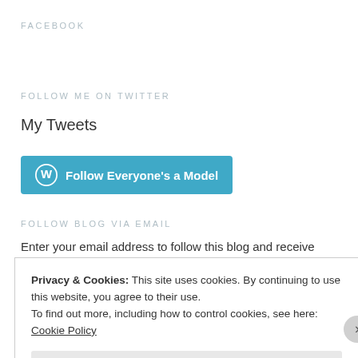FACEBOOK
FOLLOW ME ON TWITTER
My Tweets
[Figure (other): Blue button with WordPress icon: Follow Everyone's a Model]
FOLLOW BLOG VIA EMAIL
Enter your email address to follow this blog and receive notifications of new posts by email.
Privacy & Cookies: This site uses cookies. By continuing to use this website, you agree to their use.
To find out more, including how to control cookies, see here: Cookie Policy
Close and accept